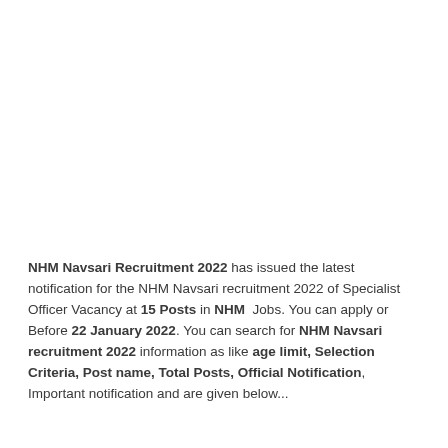NHM Navsari Recruitment 2022 has issued the latest notification for the NHM Navsari recruitment 2022 of Specialist Officer Vacancy at 15 Posts in NHM Jobs. You can apply or Before 22 January 2022. You can search for NHM Navsari recruitment 2022 information as like age limit, Selection Criteria, Post name, Total Posts, Official Notification, Important notification and are given below...